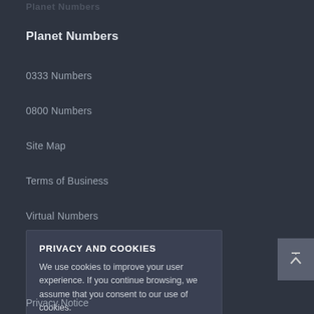Planet Numbers
0333 Numbers
0800 Numbers
Site Map
Terms of Business
Virtual Numbers
PRIVACY AND COOKIES
We use cookies to improve your user experience. If you continue browsing, we assume that you consent to our use of cookies.
More information
ACCEPT
Privacy Notice